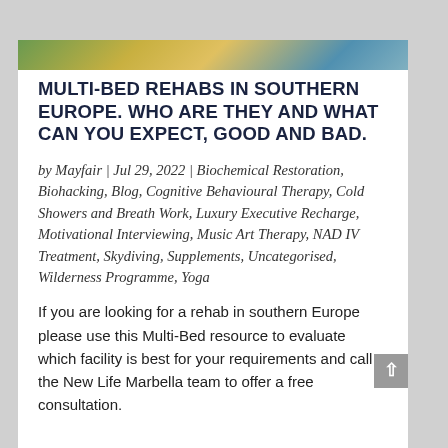[Figure (photo): Partial image strip at top showing colorful landscape with vegetation and blue tones]
MULTI-BED REHABS IN SOUTHERN EUROPE. WHO ARE THEY AND WHAT CAN YOU EXPECT, GOOD AND BAD.
by Mayfair | Jul 29, 2022 | Biochemical Restoration, Biohacking, Blog, Cognitive Behavioural Therapy, Cold Showers and Breath Work, Luxury Executive Recharge, Motivational Interviewing, Music Art Therapy, NAD IV Treatment, Skydiving, Supplements, Uncategorised, Wilderness Programme, Yoga
If you are looking for a rehab in southern Europe please use this Multi-Bed resource to evaluate which facility is best for your requirements and call the New Life Marbella team to offer a free consultation.